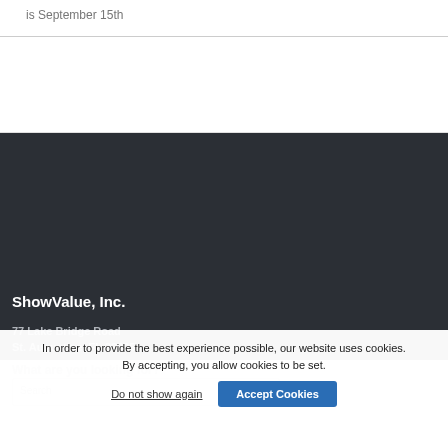is September 15th
ShowValue, Inc.
77 Lake Bridge Road
St. Augustine, FL 32095
Phone: (978) 866-3856
Fax: (866) 508-9386
Info@ShowValue.com
What are you looking for?
In order to provide the best experience possible, our website uses cookies. By accepting, you allow cookies to be set.
Do not show again
Accept Cookies